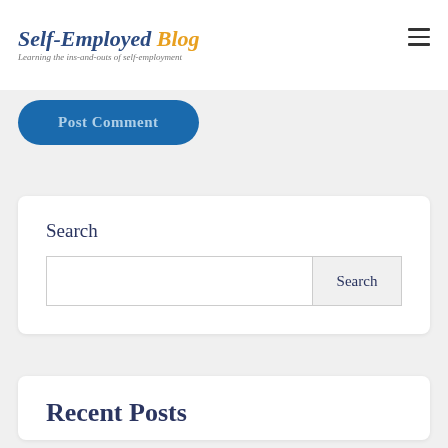Self-Employed Blog — Learning the ins-and-outs of self-employment
Post Comment
Search
Recent Posts